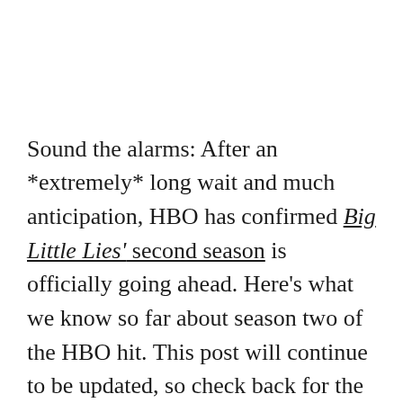Sound the alarms: After an *extremely* long wait and much anticipation, HBO has confirmed Big Little Lies' second season is officially going ahead. Here's what we know so far about season two of the HBO hit. This post will continue to be updated, so check back for the latest news and updates.